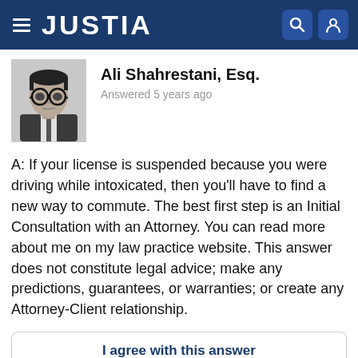JUSTIA
[Figure (photo): Black and white headshot photo of Ali Shahrestani, Esq., a man with round glasses and dark hair wearing a suit and tie]
Ali Shahrestani, Esq.
Answered 5 years ago
A: If your license is suspended because you were driving while intoxicated, then you'll have to find a new way to commute. The best first step is an Initial Consultation with an Attorney. You can read more about me on my law practice website. This answer does not constitute legal advice; make any predictions, guarantees, or warranties; or create any Attorney-Client relationship.
I agree with this answer
Report